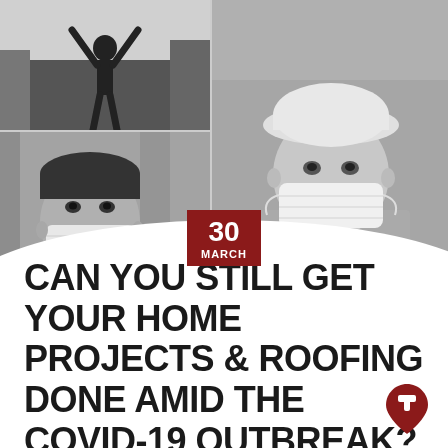[Figure (photo): Black and white photo collage: top-left shows a person with arms raised, top-right and bottom-right show a construction worker wearing a hard hat and face mask (large dominant image), bottom-left shows a person wearing a face mask.]
30 MARCH
CAN YOU STILL GET YOUR HOME PROJECTS & ROOFING DONE AMID THE COVID-19 OUTBREAK?
[Figure (logo): Red map pin / location marker icon with a white hammer/tool symbol inside]